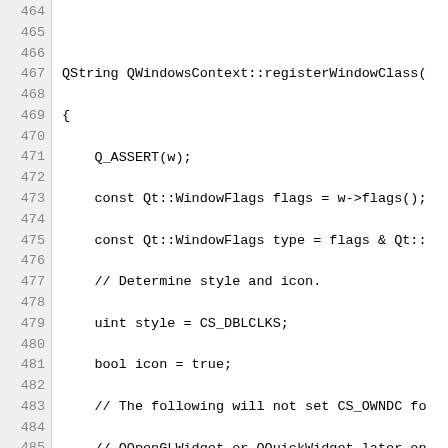[Figure (screenshot): Source code listing showing C++ function QWindowsContext::registerWindowClass, lines 464-493, with line numbers in a grey sidebar and code in monospace font.]